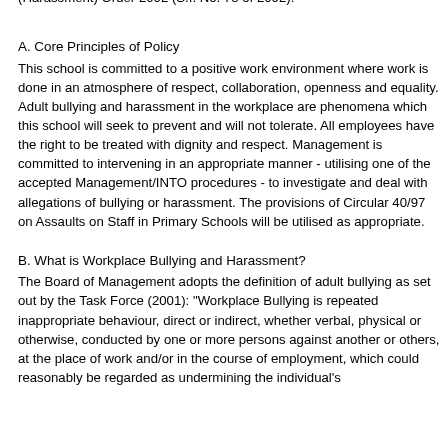(Harassment) Order 2002 (S.I. No. 78 of 2002).
A. Core Principles of Policy
This school is committed to a positive work environment where work is done in an atmosphere of respect, collaboration, openness and equality. Adult bullying and harassment in the workplace are phenomena which this school will seek to prevent and will not tolerate. All employees have the right to be treated with dignity and respect. Management is committed to intervening in an appropriate manner - utilising one of the accepted Management/INTO procedures - to investigate and deal with allegations of bullying or harassment. The provisions of Circular 40/97 on Assaults on Staff in Primary Schools will be utilised as appropriate.
B. What is Workplace Bullying and Harassment?
The Board of Management adopts the definition of adult bullying as set out by the Task Force (2001): "Workplace Bullying is repeated inappropriate behaviour, direct or indirect, whether verbal, physical or otherwise, conducted by one or more persons against another or others, at the place of work and/or in the course of employment, which could reasonably be regarded as undermining the individual's